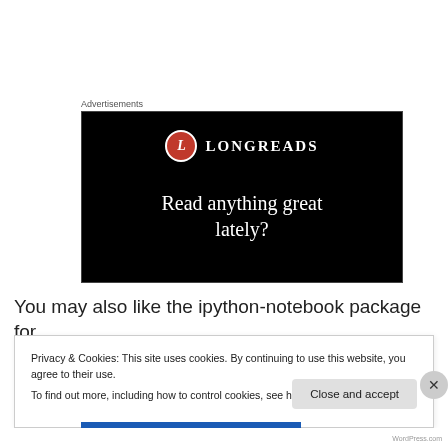Advertisements
[Figure (illustration): Longreads advertisement banner on black background with red circular L logo and text 'Read anything great lately?']
You may also like the ipython-notebook package for
Privacy & Cookies: This site uses cookies. By continuing to use this website, you agree to their use.
To find out more, including how to control cookies, see here: Cookie Policy
Close and accept